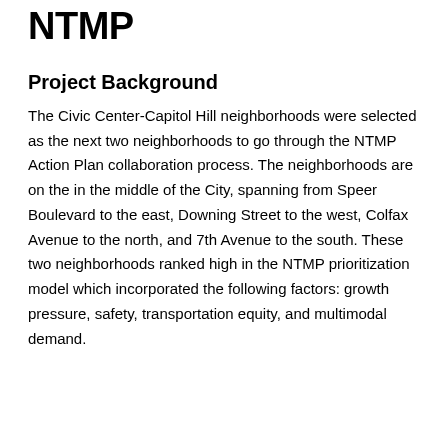NTMP
Project Background
The Civic Center-Capitol Hill neighborhoods were selected as the next two neighborhoods to go through the NTMP Action Plan collaboration process. The neighborhoods are on the in the middle of the City, spanning from Speer Boulevard to the east, Downing Street to the west, Colfax Avenue to the north, and 7th Avenue to the south. These two neighborhoods ranked high in the NTMP prioritization model which incorporated the following factors: growth pressure, safety, transportation equity, and multimodal demand.